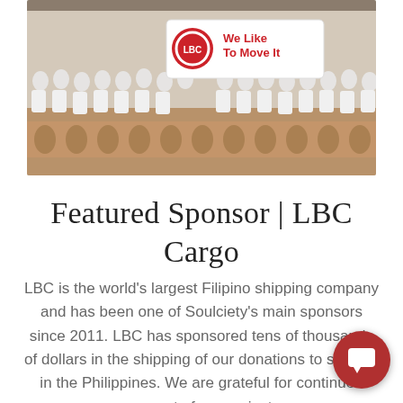[Figure (photo): Group photo of Filipino students in white uniforms seated outdoors, holding a white LBC banner that reads 'We Like To Move It'. A decorative bas-relief stone strip is visible below the group.]
Featured Sponsor | LBC Cargo
LBC is the world’s largest Filipino shipping company and has been one of Soulciety’s main sponsors since 2011. LBC has sponsored tens of thousands of dollars in the shipping of our donations to schools in the Philippines. We are grateful for continued support of our project.